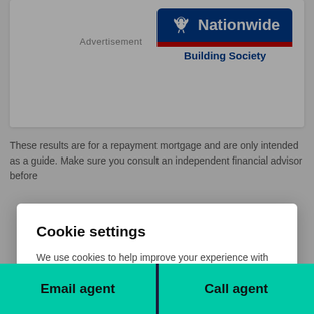[Figure (logo): Nationwide Building Society logo — blue rectangle with eagle icon and white text 'Nationwide', red bar below, blue text 'Building Society' beneath]
Advertisement
These results are for a repayment mortgage and are only intended as a guide. Make sure you hire an independent financial advisor before...
Cookie settings
We use cookies to help improve your experience with personalised content and tailored advertisements. You can control these by clicking 'Manage settings'.
Manage settings
Allow all cookies
Email agent
Call agent